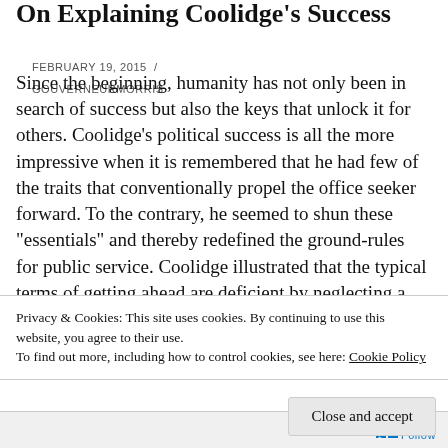On Explaining Coolidge's Success
FEBRUARY 19, 2015 / GOUVERNEURMORRIS
Since the beginning, humanity has not only been in search of success but also the keys that unlock it for others. Coolidge's political success is all the more impressive when it is remembered that he had few of the traits that conventionally propel the office seeker forward. To the contrary, he seemed to shun these “essentials” and thereby redefined the ground-rules for public service. Coolidge illustrated that the typical terms of getting ahead are deficient by neglecting a
Privacy & Cookies: This site uses cookies. By continuing to use this website, you agree to their use.
To find out more, including how to control cookies, see here: Cookie Policy
Close and accept